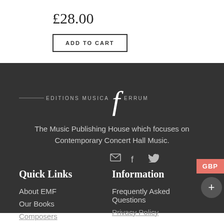£28.00
ADD TO CART
[Figure (logo): Editions Musica Ferrum logo with stylized italic 'f' and small caps text]
The Music Publishing House which focuses on Contemporary Concert Hall Music.
GBP
Quick Links
Information
About EMF
Our Books
Frequently Asked Questions
Privacy Policy